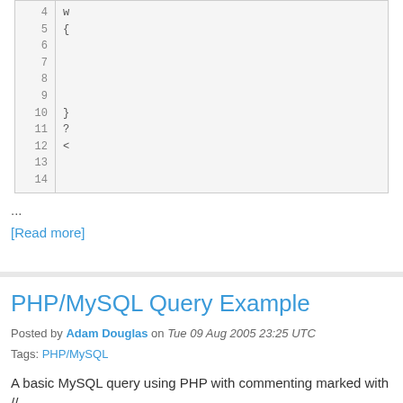[Figure (screenshot): Code block with line numbers 4-14 on left and code symbols on right]
...
[Read more]
PHP/MySQL Query Example
Posted by Adam Douglas on Tue 09 Aug 2005 23:25 UTC
Tags: PHP/MySQL
A basic MySQL query using PHP with commenting marked with //.
// SQL statement that will be sent to the MySQL